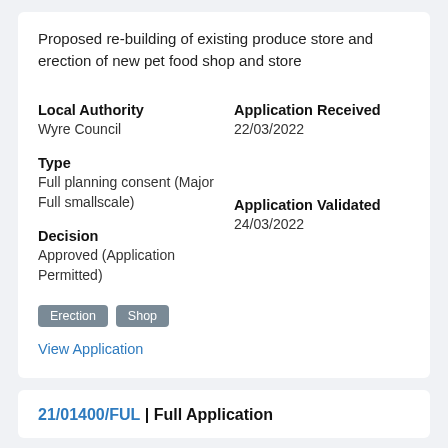Proposed re-building of existing produce store and erection of new pet food shop and store
Local Authority
Wyre Council
Type
Full planning consent (Major Full smallscale)
Application Received
22/03/2022
Application Validated
24/03/2022
Decision
Approved (Application Permitted)
Erection
Shop
View Application
21/01400/FUL | Full Application